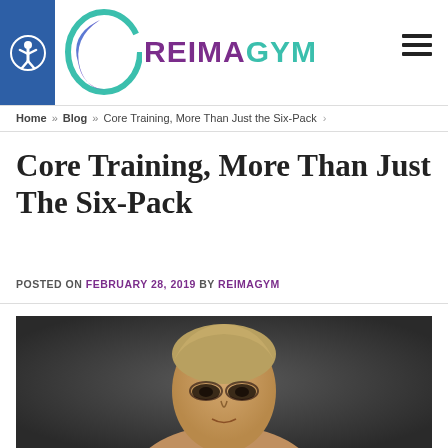REIMAGYM
Home » Blog » Core Training, More Than Just the Six-Pack
Core Training, More Than Just The Six-Pack
POSTED ON FEBRUARY 28, 2019 BY REIMAGYM
[Figure (photo): Close-up portrait of a fit woman with slicked-back blonde hair looking intensely at the camera, against a dark background]